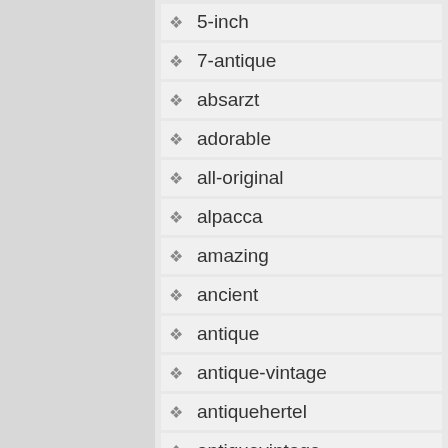5-inch
7-antique
absarzt
adorable
all-original
alpacca
amazing
ancient
antique
antique-vintage
antiquehertel
antiquevintage
antiquing
appraisal